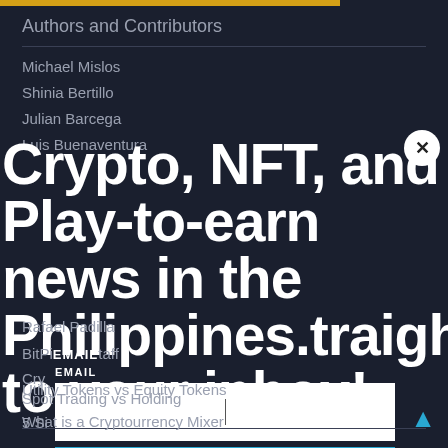Authors and Contributors
Michael Mislos
Shinia Bertillo
Julian Barcega
Luis Buenaventura
Rafael Padilla
BitPinas Staff
Crypto, NFT, and Play-to-earn news in the Philippines.traight to your inbox!
EMAIL
Spot Trading vs Holding
5 Si...
Utility Tokens vs Equity Tokens
What is a Cryptourrency Mixer